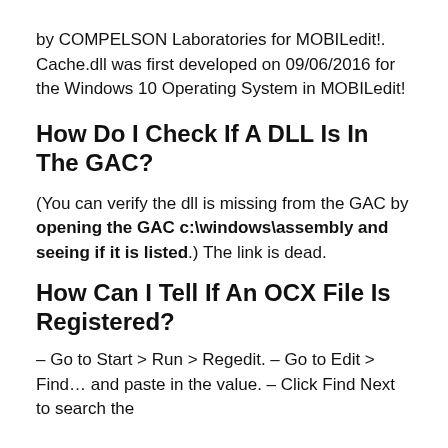by COMPELSON Laboratories for MOBILedit!. Cache.dll was first developed on 09/06/2016 for the Windows 10 Operating System in MOBILedit!
How Do I Check If A DLL Is In The GAC?
(You can verify the dll is missing from the GAC by opening the GAC c:\windows\assembly and seeing if it is listed.) The link is dead.
How Can I Tell If An OCX File Is Registered?
– Go to Start > Run > Regedit. – Go to Edit > Find… and paste in the value. – Click Find Next to search the